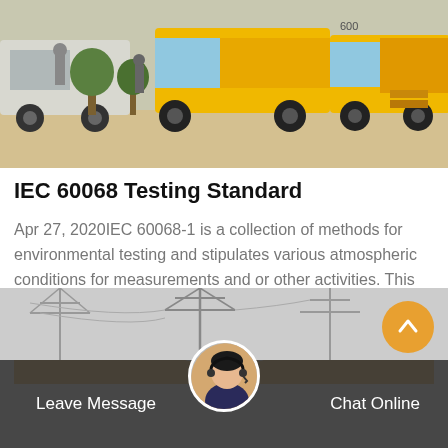[Figure (photo): Outdoor scene with yellow utility/service trucks and workers in an arid environment with trees]
IEC 60068 Testing Standard
Apr 27, 2020IEC 60068-1 is a collection of methods for environmental testing and stipulates various atmospheric conditions for measurements and or other activities. This standard finds
Get Price
[Figure (photo): Background photo of electrical power line infrastructure/towers, with a customer service representative avatar and chat interface bar at the bottom]
Leave Message
Chat Online